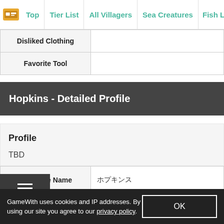Top | Tier List | All Villagers | Sea Creatures | Fish List
|  |  |
| --- | --- |
| Disliked Clothing |  |
| Favorite Tool |  |
Hopkins - Detailed Profile
Profile
TBD
|  |  |
| --- | --- |
| Japanese Name | ホプキンス |
| Special Skill |  |